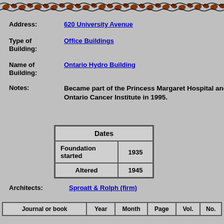[Figure (illustration): Decorative top border with repeating bird/leaf motif in brown and black on gray background]
Address: 620 University Avenue
Type of Building: Office Buildings
Name of Building: Ontario Hydro Building
Notes: Became part of the Princess Margaret Hospital and Ontario Cancer Institute in 1995.
| Dates |
| --- |
| Foundation started | 1935 |
| Altered | 1945 |
Architects: Sproatt & Rolph (firm)
| Journal or book | Year | Month | Page | Vol. | No. |
| --- | --- | --- | --- | --- | --- |